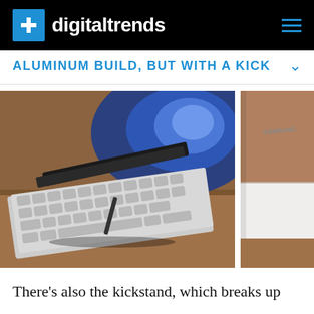digitaltrends
ALUMINUM BUILD, BUT WITH A KICK
[Figure (photo): Close-up photo of a Samsung tablet/laptop keyboard and kickstand on a wooden surface, with a blue-backlit screen visible behind it. To the right, a partial view of a Samsung device box.]
There's also the kickstand, which breaks up